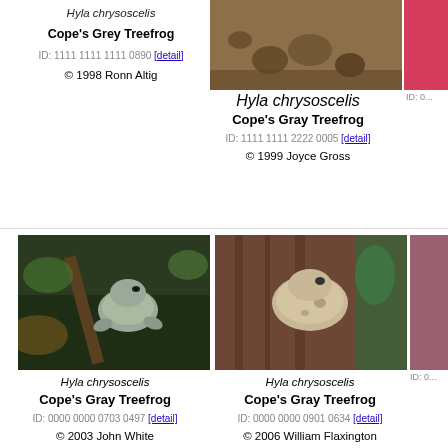[Figure (photo): Partial top-left: text caption for Hyla chrysoscelis, Cope's Grey Treefrog, ID 1111 1111 1111 0890, 1998 Ronn Altig]
[Figure (photo): Top center photo of Hyla chrysoscelis eggs/tadpoles]
[Figure (photo): Top right partial pink photo]
Hyla chrysoscelis
Cope's Gray Treefrog
ID: 1111 1111 2222 0005 [detail]
© 1999 Joyce Gross
[Figure (photo): Gray treefrog on branch - Hyla chrysoscelis]
Hyla chrysoscelis
Cope's Gray Treefrog
ID: 0000 0000 0703 0497 [detail]
© 2003 John White
[Figure (photo): Hyla chrysoscelis on bark/wood]
Hyla chrysoscelis
Cope's Gray Treefrog
ID: 0000 0000 0901 0634 [detail]
© 2006 William Flaxington
Hyla chrysoscelis
Cope's Gray Treefrog
ID: 0000 0000 0703 0904 [detail]
© 2003 John White
Hyla chrysoscelis
Cope's Gray Treefrog
ID: 0000 0000 0303 0169 [detail]
© 2003 Lisa Powers
Hyla chrysoscelis
Cope's Gray Treefrog
ID: 0000 0000 0606 0783 [detail]
© 2006 John White
Hyla chrysoscelis
Cope's Gray Treefrog
ID: 0000 0000 0409 0325 [detail]
© 2009 John White